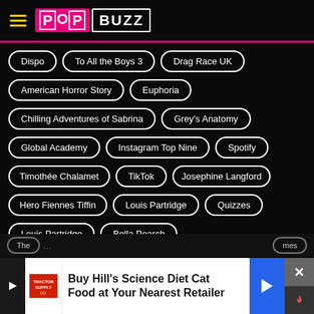[Figure (logo): PopBuzz logo with hamburger menu icon on black background]
Dispo
To All the Boys 3
Drag Race UK
American Horror Story
Euphoria
Chilling Adventures of Sabrina
Grey's Anatomy
Global Academy
Instagram Top Nine
Spotify
Timothée Chalamet
TikTok
Josephine Langford
Hero Fiennes Tiffin
Louis Partridge
Quizzes
Louis Partridge
Bella Poarch
Buy Hill's Science Diet Cat Food at Your Nearest Retailer